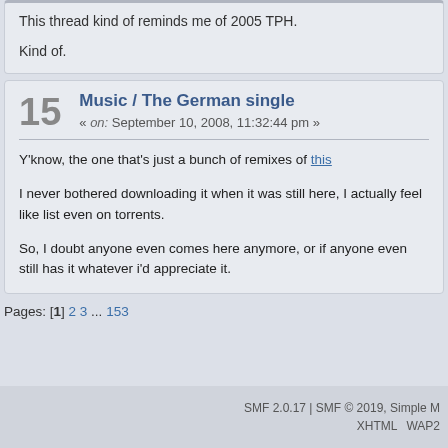This thread kind of reminds me of 2005 TPH.

Kind of.
15 Music / The German single « on: September 10, 2008, 11:32:44 pm »
Y'know, the one that's just a bunch of remixes of this

I never bothered downloading it when it was still here, I actually feel like list even on torrents.

So, I doubt anyone even comes here anymore, or if anyone even still has it whatever i'd appreciate it.
Pages: [1] 2 3 ... 153
SMF 2.0.17 | SMF © 2019, Simple M    XHTML   WAP2